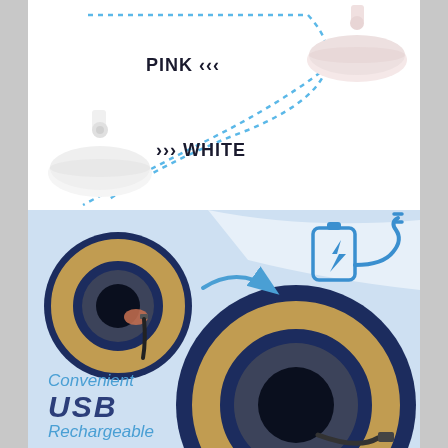[Figure (infographic): Product color variant infographic showing two lamp/suction cup variants: PINK (upper right) and WHITE (lower left), connected by blue dotted crossing lines on white background.]
[Figure (infographic): USB rechargeable feature section on blue background. Shows two circular lamps with warm LED glow and USB cable. USB charging icon with cable on upper right. Blue arrow pointing down-right. Text reads 'Convenient USB Rechargeable' in italic blue/navy.]